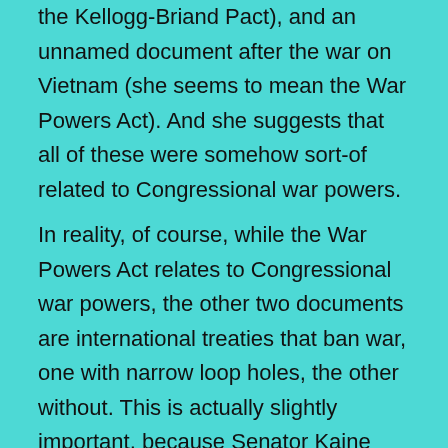the Kellogg-Briand Pact), and an unnamed document after the war on Vietnam (she seems to mean the War Powers Act). And she suggests that all of these were somehow sort-of related to Congressional war powers.
In reality, of course, while the War Powers Act relates to Congressional war powers, the other two documents are international treaties that ban war, one with narrow loop holes, the other without. This is actually slightly important, because Senator Kaine and others have also been advancing legislation to essentially undo the War Powers Act, while rhetorically maintaining the pretense of doing the opposite, but at the same time advancing the idea